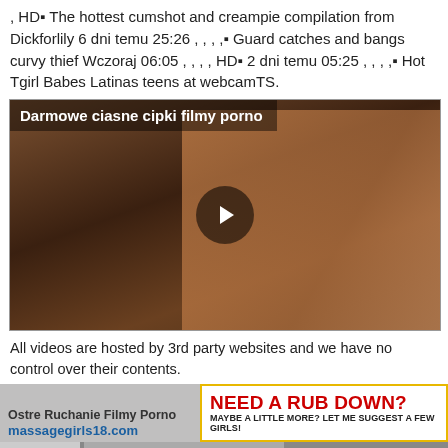, HD▪ The hottest cumshot and creampie compilation from Dickforlily 6 dni temu 25:26 , , , ,▪ Guard catches and bangs curvy thief Wczoraj 06:05 , , , , HD▪ 2 dni temu 05:25 , , , ,▪ Hot Tgirl Babes Latinas teens at webcamTS.
[Figure (screenshot): Video thumbnail with overlay title 'Darmowe ciasne cipki filmy porno', play button in center, watermark 'FASSINATING.COM' at bottom right]
All videos are hosted by 3rd party websites and we have no control over their contents.
[Figure (screenshot): Bottom ad strip showing 'Ostre Ruchanie Filmy Porno' on left with massagegirls18.com logo, and 'NEED A RUB DOWN? MAYBE A LITTLE MORE? LET ME SUGGEST A FEW GIRLS!' ad on right]